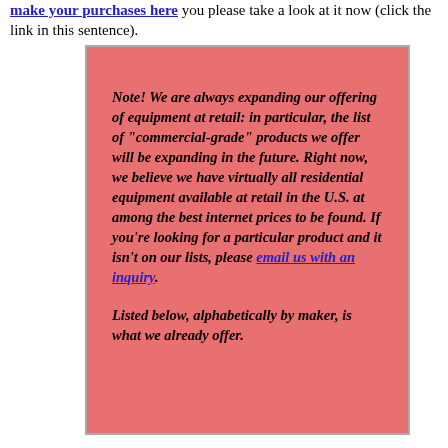make your purchases here you please take a look at it now (click the link in this sentence).
Note! We are always expanding our offering of equipment at retail: in particular, the list of "commercial-grade" products we offer will be expanding in the future. Right now, we believe we have virtually all residential equipment available at retail in the U.S. at among the best internet prices to be found. If you're looking for a particular product and it isn't on our lists, please email us with an inquiry. Listed below, alphabetically by maker, is what we already offer.